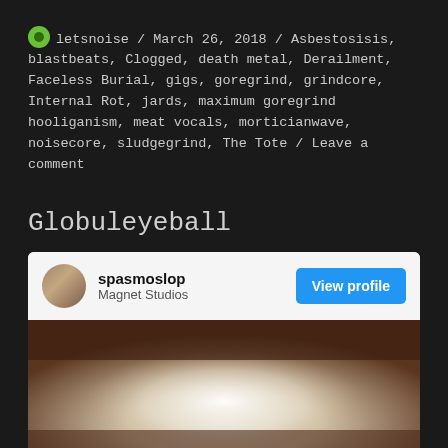letsnoise / March 26, 2018 / Asbestosisis, blastbeats, Clogged, death metal, Derailment, Faceless Burial, gigs, goregrind, grindcore, Internal Rot, jards, maximum goregrind hooliganism, meat vocals, morticianwave, noisecore, sludgegrind, The Tote / Leave a comment
Globuleyeball
[Figure (screenshot): Embedded social media profile card for 'spasmoslop' at Magnet Studios with a View profile button and a blurry brownish/white photo below]